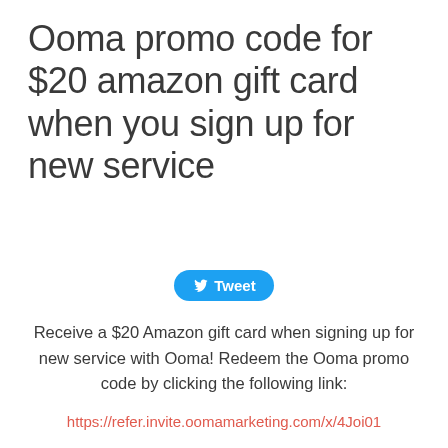Ooma promo code for $20 amazon gift card when you sign up for new service
[Figure (other): Twitter Tweet button with bird icon]
Receive a $20 Amazon gift card when signing up for new service with Ooma! Redeem the Ooma promo code by clicking the following link:
https://refer.invite.oomamarketing.com/x/4Joi01